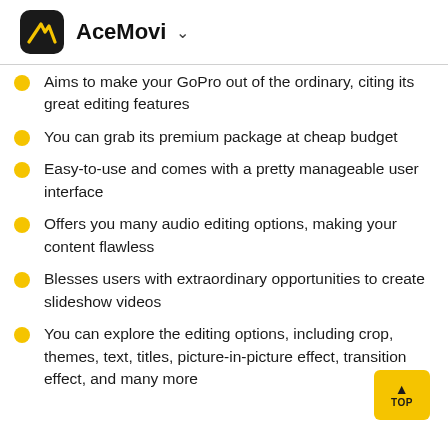AceMovi
Aims to make your GoPro out of the ordinary, citing its great editing features
You can grab its premium package at cheap budget
Easy-to-use and comes with a pretty manageable user interface
Offers you many audio editing options, making your content flawless
Blesses users with extraordinary opportunities to create slideshow videos
You can explore the editing options, including crop, themes, text, titles, picture-in-picture effect, transition effect, and many more